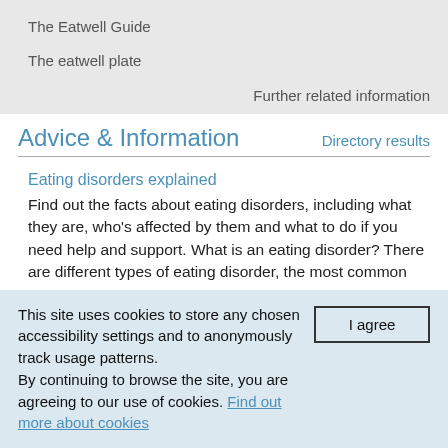The Eatwell Guide
The eatwell plate
Further related information
Advice & Information
Directory results
Eating disorders explained
Find out the facts about eating disorders, including what they are, who's affected by them and what to do if you need help and support. What is an eating disorder? There are different types of eating disorder, the most common
This site uses cookies to store any chosen accessibility settings and to anonymously track usage patterns.
By continuing to browse the site, you are agreeing to our use of cookies. Find out more about cookies